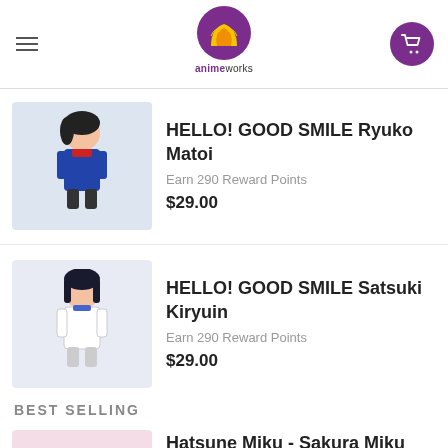animeworks (logo header with hamburger menu and cart)
HELLO! GOOD SMILE Ryuko Matoi
Earn 290 Reward Points
$29.00
HELLO! GOOD SMILE Satsuki Kiryuin
Earn 290 Reward Points
$29.00
BEST SELLING
Hatsune Miku - Sakura Miku Ver 3
Earn 450 Reward Points
$45.00
Hatsune Miku - 3rd Season Summer Ver
Earn 390 Reward Points